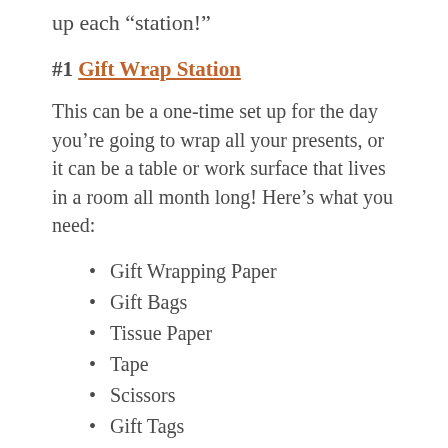up each “station!”
#1 Gift Wrap Station
This can be a one-time set up for the day you’re going to wrap all your presents, or it can be a table or work surface that lives in a room all month long! Here’s what you need:
Gift Wrapping Paper
Gift Bags
Tissue Paper
Tape
Scissors
Gift Tags
Ribbon, Bows, Etc.
Boxes
Pen For Labeling Gifts